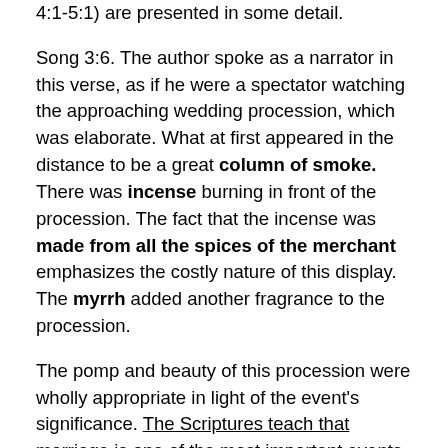4:1-5:1) are presented in some detail.
Song 3:6. The author spoke as a narrator in this verse, as if he were a spectator watching the approaching wedding procession, which was elaborate. What at first appeared in the distance to be a great column of smoke. There was incense burning in front of the procession. The fact that the incense was made from all the spices of the merchant emphasizes the costly nature of this display. The myrrh added another fragrance to the procession.
The pomp and beauty of this procession were wholly appropriate in light of the event's significance. The Scriptures teach that marriage is one of the most important events in a person's life. Therefore it is fitting that the union of a couple be commemorated in a special way. The current practice of couples casually living